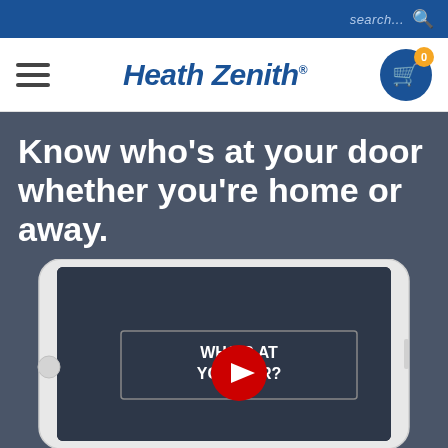search...
[Figure (logo): Heath Zenith brand logo in blue italic bold text]
Know who's at your door whether you're home or away.
[Figure (screenshot): Smartphone mockup showing a YouTube video thumbnail with text 'WHO'S AT YOUR DOOR?' and a YouTube play button overlay]